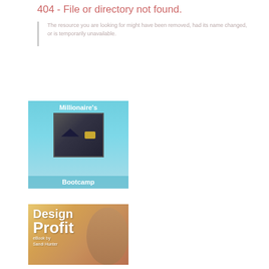404 - File or directory not found.
The resource you are looking for might have been removed, had its name changed, or is temporarily unavailable.
[Figure (illustration): Millionaire's Bootcamp advertisement banner with teal/light blue background, showing a laptop with a graduation cap and diploma scroll, text reads 'Millionaire's Bootcamp']
[Figure (illustration): Design Profit eBook advertisement banner with orange/golden gradient background, showing a woman with crossed arms, text reads 'Design Profit eBook by Sandi Hunter']